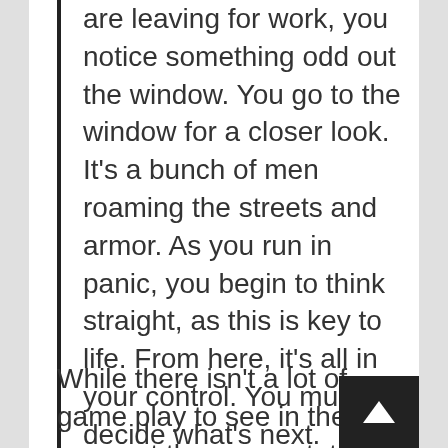are leaving for work, you notice something odd out the window. You go to the window for a closer look. It's a bunch of men roaming the streets and armor. As you run in panic, you begin to think straight, as this is key to life. From here, it's all in your control. You must decide what's next.
While there isn't a lot of game play to see in the game at the moment, the world looks great. Crossroads is being developed using CryEngine one of several AAA engines made available at